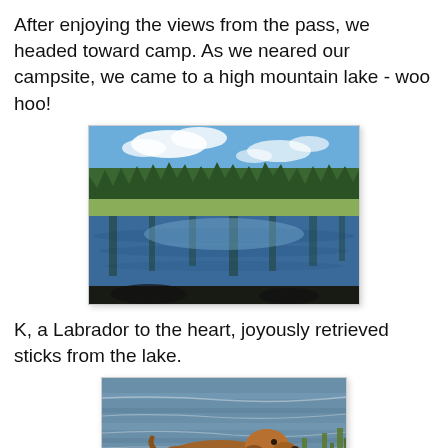After enjoying the views from the pass, we headed toward camp. As we neared our campsite, we came to a high mountain lake - woo hoo!
[Figure (photo): A high mountain lake reflecting pine-covered hillsides and a partly cloudy blue sky, with a green meadow in the foreground.]
K, a Labrador to the heart, joyously retrieved sticks from the lake.
[Figure (photo): A Labrador dog swimming in a lake, carrying a stick in its mouth, with rippling brown-blue water and green reeds in the background.]